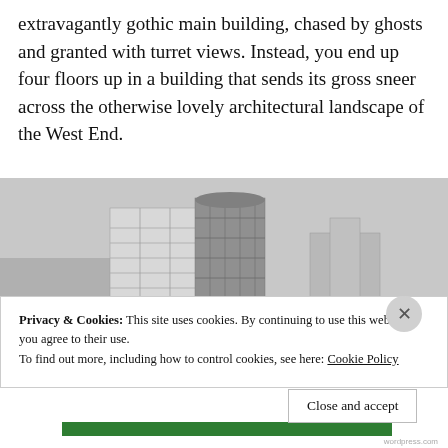extravagantly gothic main building, chased by ghosts and granted with turret views. Instead, you end up four floors up in a building that sends its gross sneer across the otherwise lovely architectural landscape of the West End.
[Figure (photo): Black and white photograph of a modern multi-storey office building in an urban setting, with other buildings visible in the background.]
Privacy & Cookies: This site uses cookies. By continuing to use this website, you agree to their use. To find out more, including how to control cookies, see here: Cookie Policy